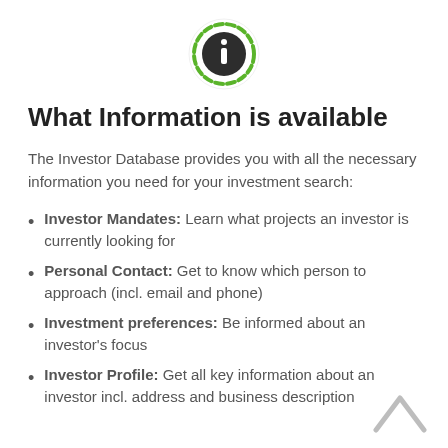[Figure (logo): Information icon — circle with green dashed ring and dark 'i' symbol in center]
What Information is available
The Investor Database provides you with all the necessary information you need for your investment search:
Investor Mandates: Learn what projects an investor is currently looking for
Personal Contact: Get to know which person to approach (incl. email and phone)
Investment preferences: Be informed about an investor's focus
Investor Profile: Get all key information about an investor incl. address and business description